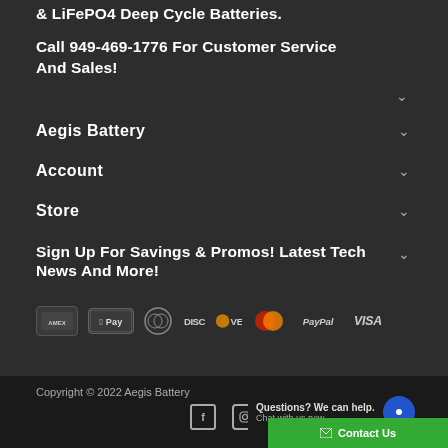& LiFePO4 Deep Cycle Batteries.
Call 949-469-1776 For Customer Service And Sales!
Aegis Battery
Account
Store
Sign Up For Savings & Promos! Latest Tech News And More!
[Figure (other): Payment method icons: American Express, Apple Pay, Diners Club, Discover, Mastercard, PayPal, Visa]
Copyright © 2022 Aegis Battery
[Figure (other): Social media icons: Facebook and Instagram]
Questions? We can help. Chat with us now.
Contact Us